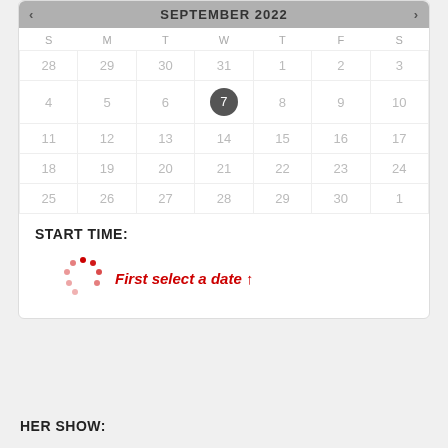[Figure (screenshot): September 2022 calendar UI widget showing days 28-1 (prior month), Sep 1-30, and Oct 1. Day 7 is selected with a dark circle. Navigation arrows on left and right of header.]
START TIME:
[Figure (infographic): Loading spinner (dotted circle) in red next to italic red text: First select a date ↑]
HER SHOW: